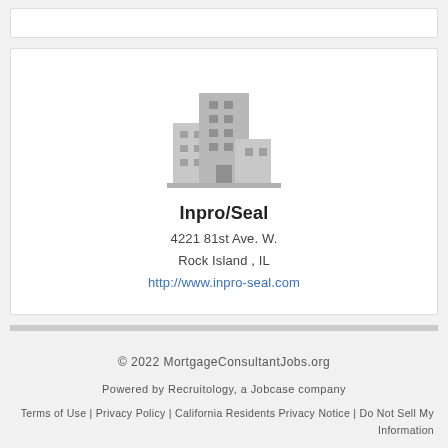[Figure (illustration): Gray building/office icon with multiple floors and windows]
Inpro/Seal
4221 81st Ave. W.
Rock Island , IL
http://www.inpro-seal.com
© 2022 MortgageConsultantJobs.org
Powered by Recruitology, a Jobcase company
Terms of Use | Privacy Policy | California Residents Privacy Notice | Do Not Sell My Information